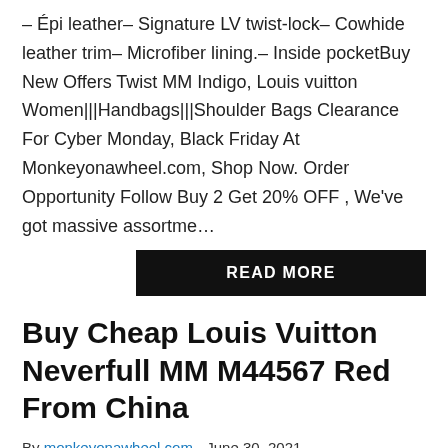– Épi leather– Signature LV twist-lock– Cowhide leather trim– Microfiber lining.– Inside pocketBuy New Offers Twist MM Indigo, Louis vuitton Women|||Handbags|||Shoulder Bags Clearance For Cyber Monday, Black Friday At Monkeyonawheel.com, Shop Now. Order Opportunity Follow Buy 2 Get 20% OFF , We've got massive assortme…
READ MORE
Buy Cheap Louis Vuitton Neverfull MM M44567 Red From China
By monkeyonawheel.com - June 30, 2021